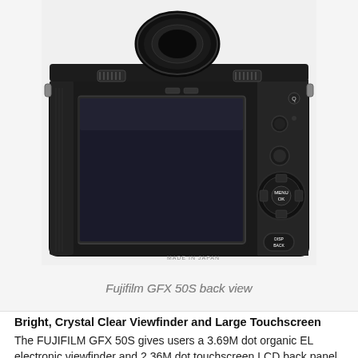[Figure (photo): Back view of the Fujifilm GFX 50S medium format mirrorless camera, showing the large tilting LCD touchscreen, viewfinder eyepiece at the top, and control buttons including MENU/OK and DISP/BACK on the right side. Text on camera reads 'MADE IN JAPAN'.]
Fujifilm GFX 50S back view
Bright, Crystal Clear Viewfinder and Large Touchscreen
The FUJIFILM GFX 50S gives users a 3.69M dot organic EL electronic viewfinder and 2.36M dot touchscreen LCD back panel for easy viewing. The EVF is detachable to allow for flexible operation. Users can attach the accessory EVF-TL1